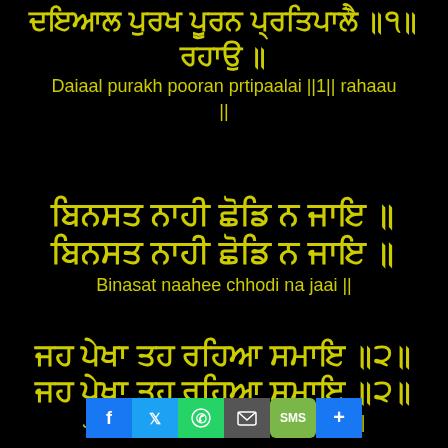ਦਇਆਲ ਪੁਰਖ ਪੂਰਨ ਪ੍ਰਤਿਪਾਲੈ ॥੧॥ ਰਹਾਉ ॥
Daiaal purakh pooran prtipaalai ||1|| rahaau ||
ਬਿਨਸਤ ਨਾਹੀ ਛੋਡਿ ਨ ਜਾਇ ॥
ਬਿਨਸਤ ਨਾਹੀ ਛੋਡਿ ਨ ਜਾਇ ॥
Binasat naahee chhodi na jaai ||
ਜਹ ਪੇਖਾ ਤਹ ਰਹਿਆ ਸਮਾਇ ॥੨॥
ਜਹ ਪੇਖਾ ਤਹ ਰਹਿਆ ਸਮਾਇ ॥੨॥
Jah pekha tah rahiaa samaai ||2||